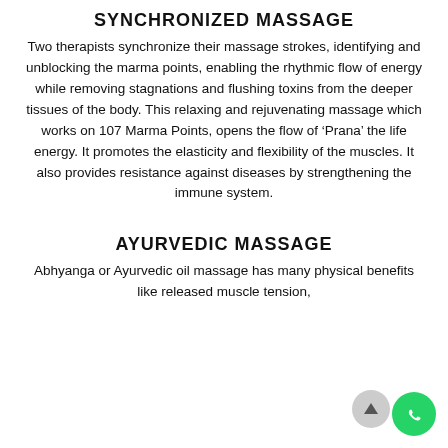SYNCHRONIZED MASSAGE
Two therapists synchronize their massage strokes, identifying and unblocking the marma points, enabling the rhythmic flow of energy while removing stagnations and flushing toxins from the deeper tissues of the body. This relaxing and rejuvenating massage which works on 107 Marma Points, opens the flow of ‘Prana’ the life energy. It promotes the elasticity and flexibility of the muscles. It also provides resistance against diseases by strengthening the immune system.
AYURVEDIC MASSAGE
Abhyanga or Ayurvedic oil massage has many physical benefits like released muscle tension,